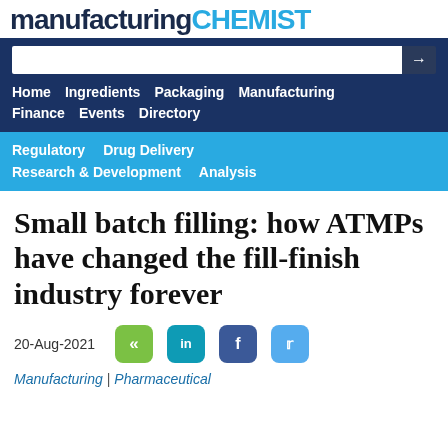manufacturing CHEMIST
Home   Ingredients   Packaging   Manufacturing   Finance   Events   Directory
Regulatory   Drug Delivery   Research & Development   Analysis
Small batch filling: how ATMPs have changed the fill-finish industry forever
20-Aug-2021
Manufacturing | Pharmaceutical